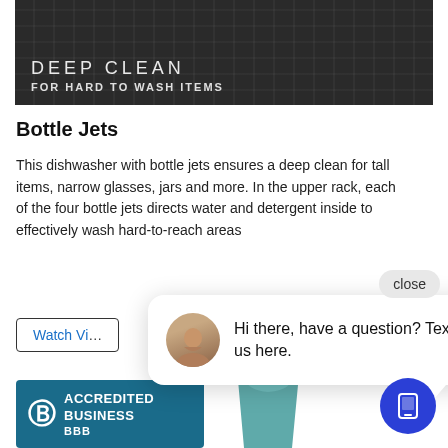[Figure (photo): Dark dishwasher interior photo with text overlay reading DEEP CLEAN FOR HARD TO WASH ITEMS]
Bottle Jets
This dishwasher with bottle jets ensures a deep clean for tall items, narrow glasses, jars and more. In the upper rack, each of the four bottle jets directs water and detergent inside to effectively wash hard-to-reach areas
[Figure (screenshot): Chat popup overlay with avatar of woman and text: Hi there, have a question? Text us here. Close button visible at top right.]
[Figure (logo): BBB Accredited Business badge in teal/dark blue]
[Figure (photo): Teal ceramic cup/vessel partially visible at bottom center]